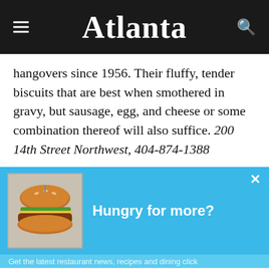Atlanta
hangovers since 1956. Their fluffy, tender biscuits that are best when smothered in gravy, but sausage, egg, and cheese or some combination thereof will also suffice. 200 14th Street Northwest, 404-874-1388
[Figure (screenshot): Blue popup banner reading 'Hungry for more?' with a burger image on the left and an X close button on the right]
[Figure (screenshot): BitLife advertisement banner: 'NOW WITH GOD MODE' with cartoon hands and character icons, close buttons at top right]